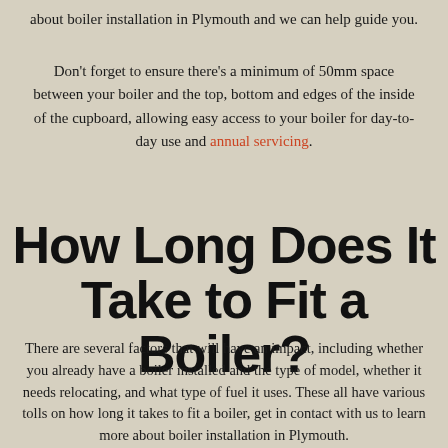about boiler installation in Plymouth and we can help guide you.
Don't forget to ensure there's a minimum of 50mm space between your boiler and the top, bottom and edges of the inside of the cupboard, allowing easy access to your boiler for day-to-day use and annual servicing.
How Long Does It Take to Fit a Boiler?
There are several factors that will have an impact, including whether you already have a boiler installed and the type of model, whether it needs relocating, and what type of fuel it uses. These all have various tolls on how long it takes to fit a boiler, get in contact with us to learn more about boiler installation in Plymouth.